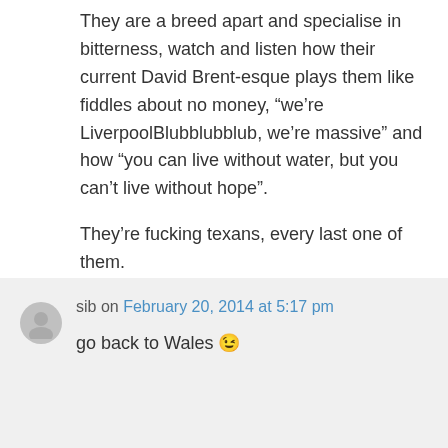They are a breed apart and specialise in bitterness, watch and listen how their current David Brent-esque plays them like fiddles about no money, “we’re LiverpoolBlubblubblub, we’re massive” and how “you can live without water, but you can’t live without hope”.
They’re fucking texans, every last one of them.
★ Like
↳ Reply
sib on February 20, 2014 at 5:17 pm
go back to Wales 😉